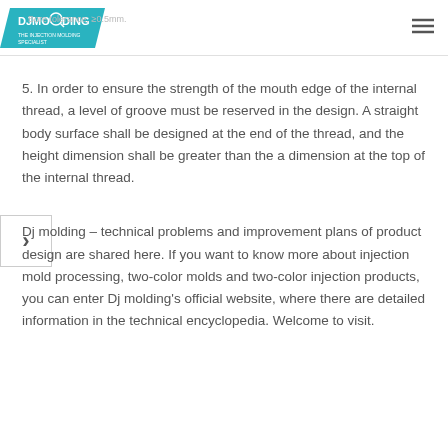Bore tolerance: ≥0.5mm.
5. In order to ensure the strength of the mouth edge of the internal thread, a level of groove must be reserved in the design. A straight body surface shall be designed at the end of the thread, and the height dimension shall be greater than the a dimension at the top of the internal thread.
Dj molding – technical problems and improvement plans of product design are shared here. If you want to know more about injection mold processing, two-color molds and two-color injection products, you can enter Dj molding's official website, where there are detailed information in the technical encyclopedia. Welcome to visit.